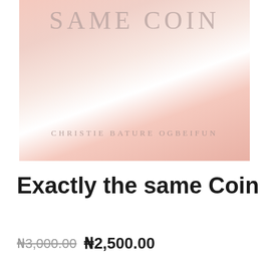[Figure (illustration): Book cover with pink gradient background. Title 'SAME COIN' in large serif letters at the top, author name 'CHRISTIE BATURE OGBEIFUN' in smaller spaced serif letters at the bottom.]
Exactly the same Coin
₦3,000.00 ₦2,500.00